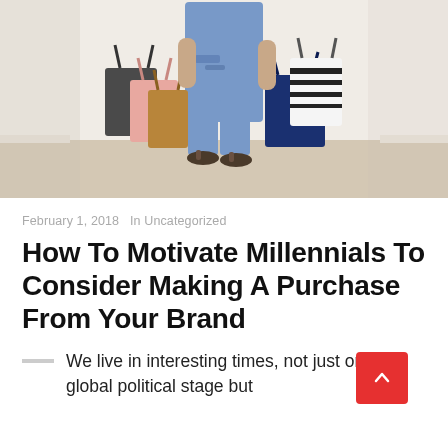[Figure (photo): Person from waist down wearing ripped jeans and sandals, holding multiple shopping bags of various colors and patterns against a light interior background with wood floor]
February 1, 2018   In Uncategorized
How To Motivate Millennials To Consider Making A Purchase From Your Brand
We live in interesting times, not just on the global political stage but